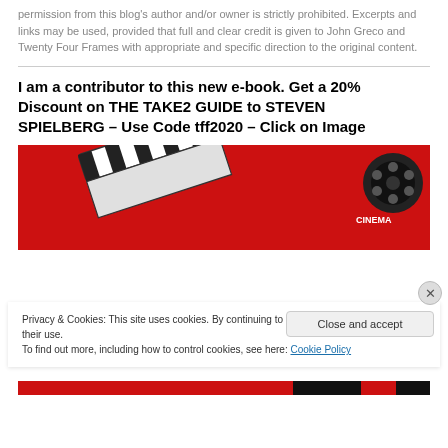permission from this blog’s author and/or owner is strictly prohibited. Excerpts and links may be used, provided that full and clear credit is given to John Greco and Twenty Four Frames with appropriate and specific direction to the original content.
I am a contributor to this new e-book. Get a 20% Discount on THE TAKE2 GUIDE to STEVEN SPIELBERG – Use Code tff2020 – Click on Image
[Figure (illustration): Red background image with a film clapperboard (slate) in the center and a cinema film reel icon in the top-right corner, partially visible.]
Privacy & Cookies: This site uses cookies. By continuing to use this website, you agree to their use.
To find out more, including how to control cookies, see here: Cookie Policy
Close and accept